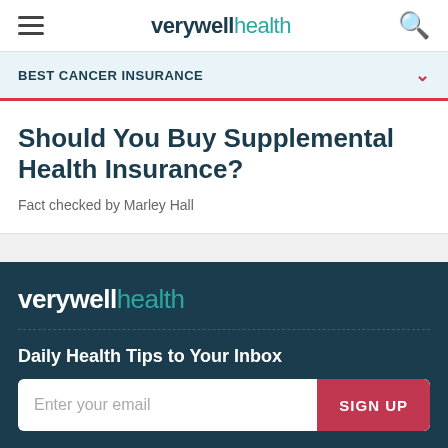verywell health
BEST CANCER INSURANCE
Should You Buy Supplemental Health Insurance?
Fact checked by Marley Hall
verywell health
Daily Health Tips to Your Inbox
Enter your email  SIGN UP
Follow Us